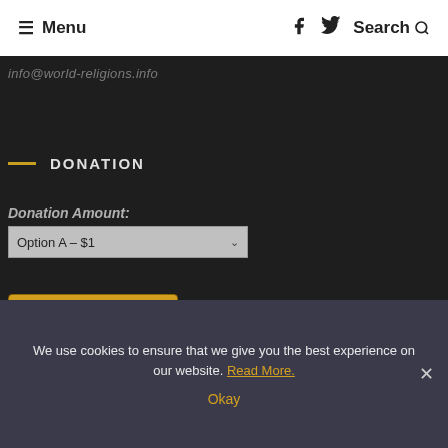☰ Menu   🖬  𝕏  Search 🔍
info@world-religions.info
DONATION
Donation Amount:
Option A – $1
Donate with PayPal
We use cookies to ensure that we give you the best experience on our website. Read More. Okay